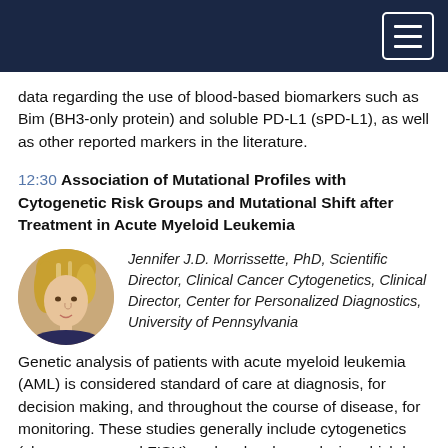[Navigation bar with hamburger menu]
data regarding the use of blood-based biomarkers such as Bim (BH3-only protein) and soluble PD-L1 (sPD-L1), as well as other reported markers in the literature.
12:30 Association of Mutational Profiles with Cytogenetic Risk Groups and Mutational Shift after Treatment in Acute Myeloid Leukemia
[Figure (photo): Circular headshot of Jennifer J.D. Morrissette, a woman with blonde highlighted hair]
Jennifer J.D. Morrissette, PhD, Scientific Director, Clinical Cancer Cytogenetics, Clinical Director, Center for Personalized Diagnostics, University of Pennsylvania
Genetic analysis of patients with acute myeloid leukemia (AML) is considered standard of care at diagnosis, for decision making, and throughout the course of disease, for monitoring. These studies generally include cytogenetics (chromosome and FISH) and molecular analysis, which has been moving from single gene testing toward panel testing of critical genes. There are several large studies that have categorized AML patients into risk groups based on cytogenetic findings at diagnosis.